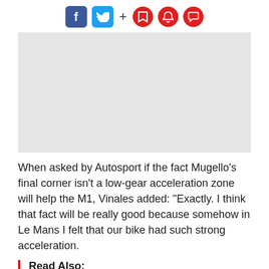[Figure (other): Social media and action toolbar icons: Facebook (blue square), Twitter (blue square), plus sign, and three red circle icons (bookmark, bell, comment)]
[Figure (photo): Gray placeholder image for an article photo]
When asked by Autosport if the fact Mugello’s final corner isn’t a low-gear acceleration zone will help the M1, Vinales added: “Exactly. I think that fact will be really good because somehow in Le Mans I felt that our bike had such strong acceleration.
Read Also: